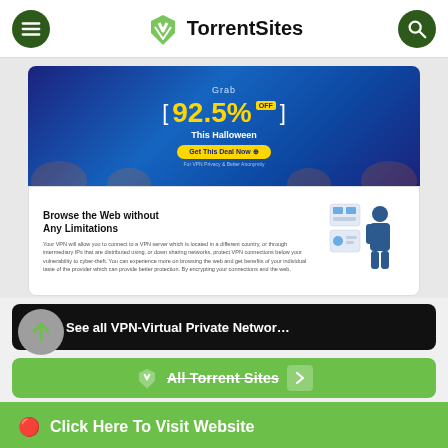TorrentSites
[Figure (screenshot): Halloween promotional ad banner: 'Grab 92.5% OFF This Halloween' with a Get This Deal Now button on a dark blue background with jack-o-lanterns]
[Figure (screenshot): VPN advertisement: 'Browse the Web without Any Limitations' with body text and an illustration of a person with VPN interface]
See all VPN-Virtual Private Networ…
All Torrent Sites
Click Here To Visit Website
See all VPN-Virtual Private Network (14)